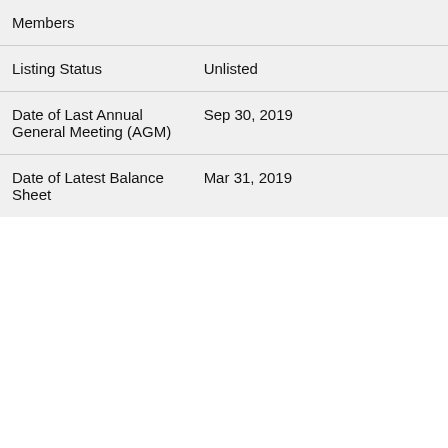| Members |  |
| Listing Status | Unlisted |
| Date of Last Annual General Meeting (AGM) | Sep 30, 2019 |
| Date of Latest Balance Sheet | Mar 31, 2019 |